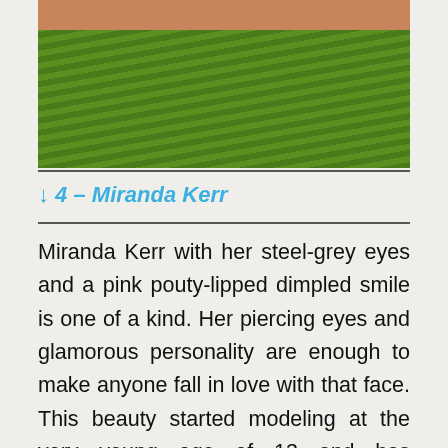[Figure (photo): A photo of a person wearing a green satin dress, showing torso area with skin visible on the sides. The green fabric has diagonal ribbed texture.]
↓ 4 – Miranda Kerr
Miranda Kerr with her steel-grey eyes and a pink pouty-lipped dimpled smile is one of a kind. Her piercing eyes and glamorous personality are enough to make anyone fall in love with that face. This beauty started modeling at the very young age of 13 and has continued to pursue her art since.